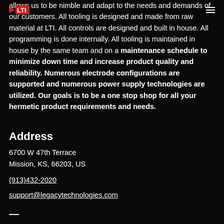LTI logo and navigation menu
allows us to be nimble and adapt to the needs and demands of our customers. All tooling is designed and made from raw material at LTI. All controls are designed and built in house. All programming is done internally. All tooling is maintained in house by the same team and on a maintenance schedule to minimize down time and increase product quality and reliability. Numerous electrode configurations are supported and numerous power supply technologies are utilized. Our goals is to be a one stop shop for all your hermetic product requirements and needs.
Address
6700 W 47th Terrace
Mission, KS, 66203, US
(913)432-2020
support@legacytechnologies.com